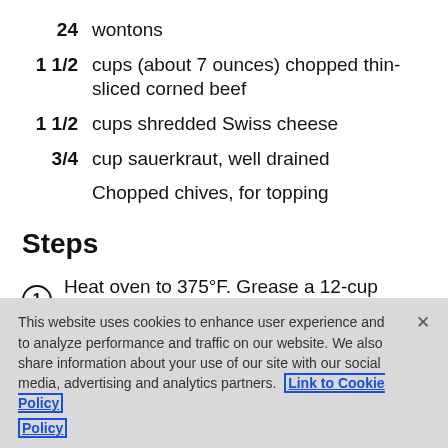24 wontons
1 1/2 cups (about 7 ounces) chopped thin-sliced corned beef
1 1/2 cups shredded Swiss cheese
3/4 cup sauerkraut, well drained
Chopped chives, for topping
Steps
1 Heat oven to 375°F. Grease a 12-cup muffin tin.
This website uses cookies to enhance user experience and to analyze performance and traffic on our website. We also share information about your use of our site with our social media, advertising and analytics partners. Link to Cookie Policy